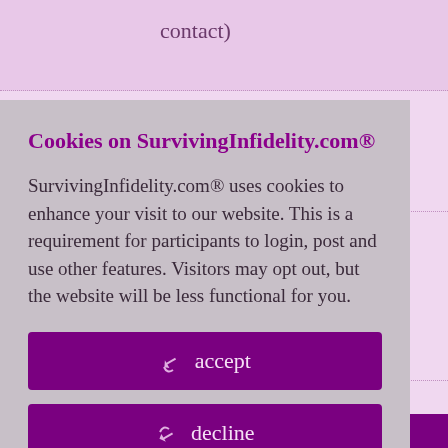contact)
id 7279285
ed [icons]
real-life (jobs,
ne rough spots.
WANT this to
Cookies on SurvivingInfidelity.com®
SurvivingInfidelity.com® uses cookies to enhance your visit to our website. This is a requirement for participants to login, post and use other features. Visitors may opt out, but the website will be less functional for you.
accept
decline
about cookies
Policy